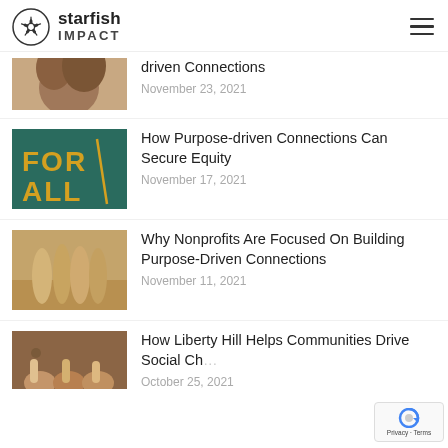starfish IMPACT
[Figure (photo): Partial view of couple photo, top item cut off]
driven Connections
November 23, 2021
[Figure (photo): FOR ALL graffiti mural in teal and orange]
How Purpose-driven Connections Can Secure Equity
November 17, 2021
[Figure (photo): Group of people standing on beach at sunset]
Why Nonprofits Are Focused On Building Purpose-Driven Connections
November 11, 2021
[Figure (photo): Hands stacked on wooden surface]
How Liberty Hill Helps Communities Drive Social Ch…
October 25, 2021